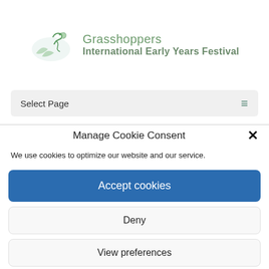[Figure (logo): Grasshoppers International Early Years Festival logo with a grasshopper graphic on a light blue/green oval background, green text reading 'Grasshoppers' and bold green text 'International Early Years Festival']
Select Page
Manage Cookie Consent
We use cookies to optimize our website and our service.
Accept cookies
Deny
View preferences